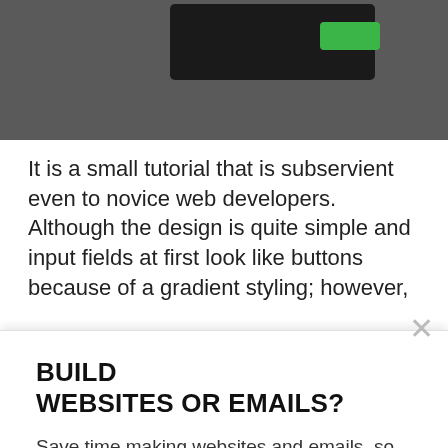[Figure (screenshot): Dark grey screenshot area showing a black inner box and a green button at top]
It is a small tutorial that is subservient even to novice web developers. Although the design is quite simple and input fields at first look like buttons because of a gradient styling; however,
BUILD
WEBSITES OR EMAILS?
Save time making websites and emails, so you can focus on your business.
TRY OUR APPS